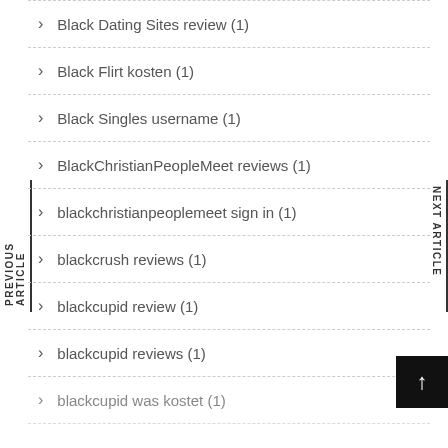Black Dating Sites review (1)
Black Flirt kosten (1)
Black Singles username (1)
BlackChristianPeopleMeet reviews (1)
blackchristianpeoplemeet sign in (1)
blackcrush reviews (1)
blackcupid review (1)
blackcupid reviews (1)
blackcupid was kostet (1)